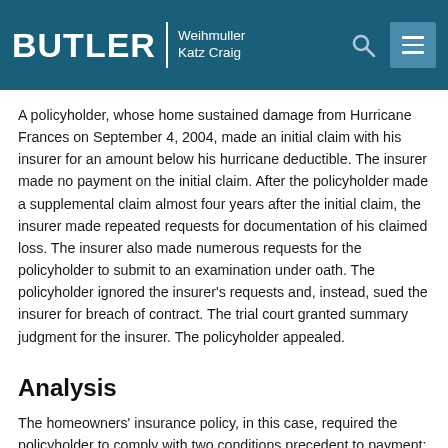BUTLER Weihmuller Katz Craig
A policyholder, whose home sustained damage from Hurricane Frances on September 4, 2004, made an initial claim with his insurer for an amount below his hurricane deductible. The insurer made no payment on the initial claim. After the policyholder made a supplemental claim almost four years after the initial claim, the insurer made repeated requests for documentation of his claimed loss. The insurer also made numerous requests for the policyholder to submit to an examination under oath. The policyholder ignored the insurer's requests and, instead, sued the insurer for breach of contract. The trial court granted summary judgment for the insurer. The policyholder appealed.
Analysis
The homeowners' insurance policy, in this case, required the policyholder to comply with two conditions precedent to payment: (1)